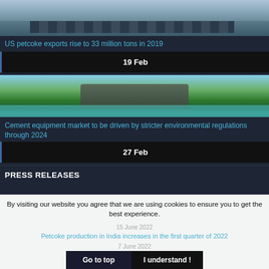[Figure (photo): Industrial waterfront scene with factory/refinery buildings and flags along a river or harbor, mist in background]
US petcoke exports rise to 33 million tons in 2019
19 Feb
[Figure (photo): Green nature scene with industrial building/structure visible among trees, reflected in water below]
Cement equipment market to be driven by stricter environmental regulations through 2024
27 Feb
PRESS RELEASES
By visiting our website you agree that we are using cookies to ensure you to get the best experience.
15 June 2022
Petcoke production in India increases in the first quarter of 2022
7 June 2022